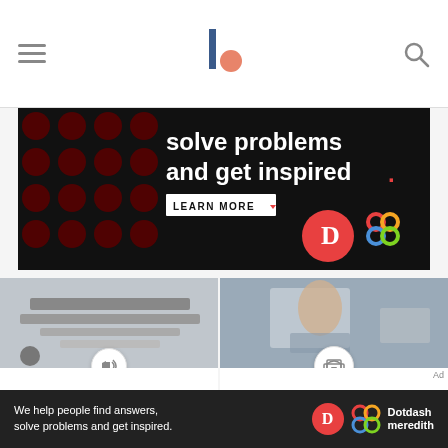Navigation header with hamburger menu, site logo, and search icon
[Figure (photo): Advertisement banner: dark background with red dot pattern, text 'solve problems and get inspired.' with 'LEARN MORE' button, Dotdash and Meredith logos]
[Figure (photo): Article card image: stacked tech devices (laptops/tablets) with a megaphone/speaker icon badge. Category: PUBLIC RELATIONS. Title: Where Can I Donate Used Tech Locally, Nationally, or]
[Figure (photo): Article card image: woman sitting at desk on phone with laptop. Category: RUNNING YOUR OFFICE. Title: Setting Up a Home. Store/shop icon badge.]
We help people find answers, solve problems and get inspired. Dotdash meredith